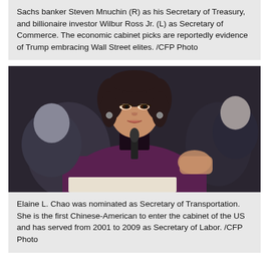Sachs banker Steven Mnuchin (R) as his Secretary of Treasury, and billionaire investor Wilbur Ross Jr. (L) as Secretary of Commerce. The economic cabinet picks are reportedly evidence of Trump embracing Wall Street elites. /CFP Photo
[Figure (photo): Portrait photo of Elaine L. Chao, a Chinese-American woman with dark hair, wearing a purple jacket, speaking at a microphone. A man is visible in the background on the left.]
Elaine L. Chao was nominated as Secretary of Transportation. She is the first Chinese-American to enter the cabinet of the US and has served from 2001 to 2009 as Secretary of Labor. /CFP Photo